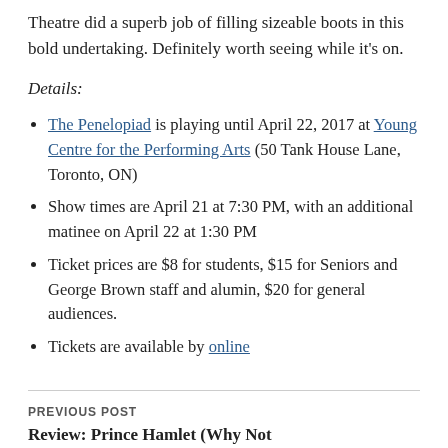Theatre did a superb job of filling sizeable boots in this bold undertaking. Definitely worth seeing while it’s on.
Details:
The Penelopiad is playing until April 22, 2017 at Young Centre for the Performing Arts (50 Tank House Lane, Toronto, ON)
Show times are April 21 at 7:30 PM, with an additional matinee on April 22 at 1:30 PM
Ticket prices are $8 for students, $15 for Seniors and George Brown staff and alumin, $20 for general audiences.
Tickets are available by online
PREVIOUS POST
Review: Prince Hamlet (Why Not Theatre/Soulpepper)